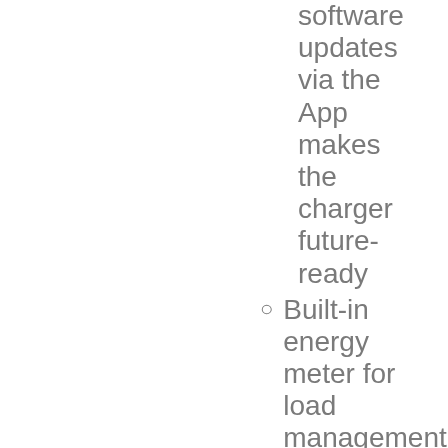software updates via the App makes the charger future-ready
Built-in energy meter for load management
Broad range of connectivity